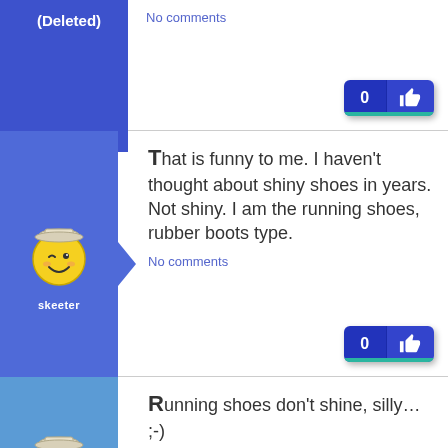(Deleted)
No comments
skeeter
That is funny to me. I haven't thought about shiny shoes in years. Not shiny. I am the running shoes, rubber boots type.
No comments
gmeades
Running shoes don't shine, silly... ;-)
No comments